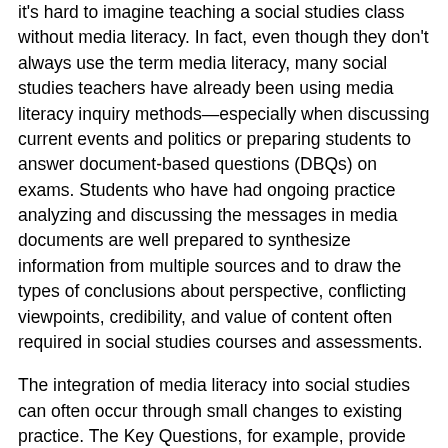it's hard to imagine teaching a social studies class without media literacy. In fact, even though they don't always use the term media literacy, many social studies teachers have already been using media literacy inquiry methods—especially when discussing current events and politics or preparing students to answer document-based questions (DBQs) on exams. Students who have had ongoing practice analyzing and discussing the messages in media documents are well prepared to synthesize information from multiple sources and to draw the types of conclusions about perspective, conflicting viewpoints, credibility, and value of content often required in social studies courses and assessments.
The integration of media literacy into social studies can often occur through small changes to existing practice. The Key Questions, for example, provide students with a standard framework to analyze and think critically about historical documents or cultural artifacts. Media literacy can also provide the basis for more extensive projects that immerse students in the study of complicated events and issues, building core skills